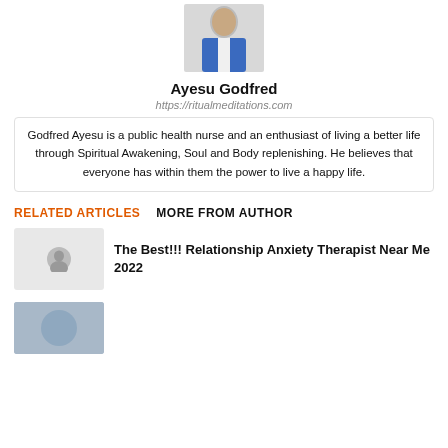[Figure (photo): Author headshot of Ayesu Godfred in blue suit]
Ayesu Godfred
https://ritualmeditations.com
Godfred Ayesu is a public health nurse and an enthusiast of living a better life through Spiritual Awakening, Soul and Body replenishing. He believes that everyone has within them the power to live a happy life.
RELATED ARTICLES
MORE FROM AUTHOR
[Figure (photo): Thumbnail image placeholder for article]
The Best!!! Relationship Anxiety Therapist Near Me 2022
[Figure (photo): Thumbnail image for second article, partially visible at bottom]